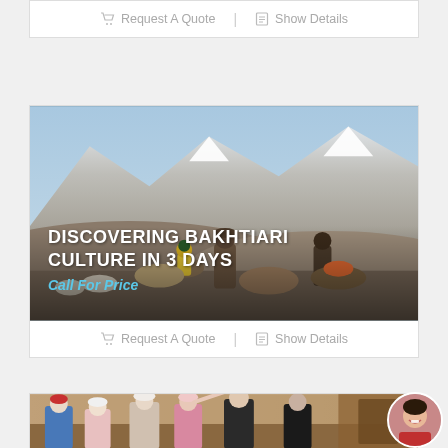Request A Quote | Show Details
[Figure (photo): Travelers with horses and camels in a mountainous landscape, Bakhtiari culture scene with snow-capped mountains in the background]
DISCOVERING BAKHTIARI CULTURE IN 3 DAYS
Call For Price
Request A Quote | Show Details
[Figure (photo): Group of tourists looking up at decorated walls or ceiling inside a historic building]